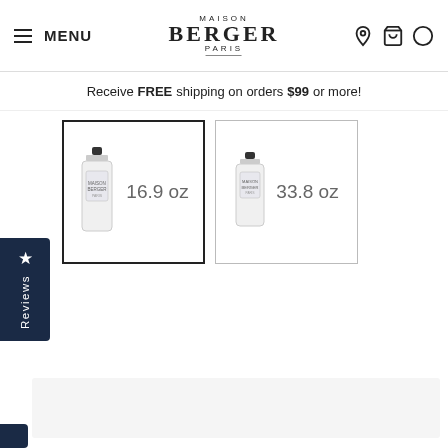MENU | MAISON BERGER PARIS
Receive FREE shipping on orders $99 or more!
[Figure (screenshot): Two product size selection boxes showing a bottle of Maison Berger product: 16.9 oz (selected, bold border) and 33.8 oz (unselected)]
[Figure (screenshot): Sidebar tab with star icon and 'Reviews' text on dark navy background]